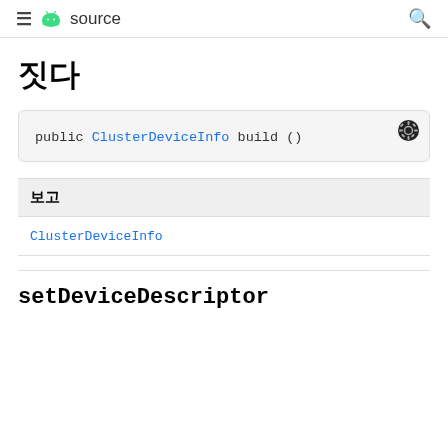≡ android source
짓다
public ClusterDeviceInfo build ()
| 보고 |
| --- |
| ClusterDeviceInfo |
setDeviceDescriptor